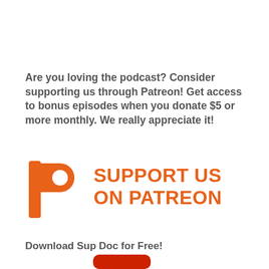Are you loving the podcast? Consider supporting us through Patreon! Get access to bonus episodes when you donate $5 or more monthly. We really appreciate it!
[Figure (logo): Patreon logo with orange P icon and text 'SUPPORT US ON PATREON' in orange bold uppercase letters]
Download Sup Doc for Free!